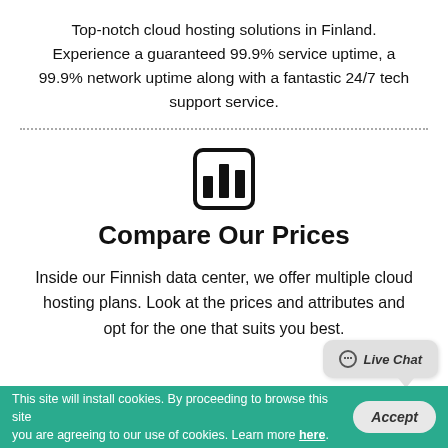Top-notch cloud hosting solutions in Finland. Experience a guaranteed 99.9% service uptime, a 99.9% network uptime along with a fantastic 24/7 tech support service.
[Figure (illustration): Bar chart icon inside a rounded rectangle border, representing price comparison]
Compare Our Prices
Inside our Finnish data center, we offer multiple cloud hosting plans. Look at the prices and attributes and opt for the one that suits you best.
This site will install cookies. By proceeding to browse this site you are agreeing to our use of cookies. Learn more here.